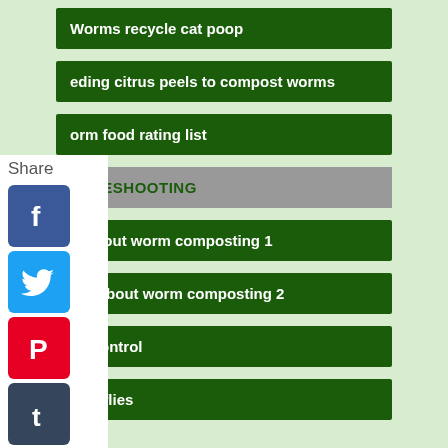Worms recycle cat poop
…eeding citrus peels to compost worms
…orm food rating list
TROUBLESHOOTING
…Q about worm composting 1
…Q's about worm composting 2
fly control
fruit flies
[Figure (infographic): Share panel with social media icons: Facebook, Twitter, Pinterest, Tumblr, Reddit, WhatsApp, Messenger]